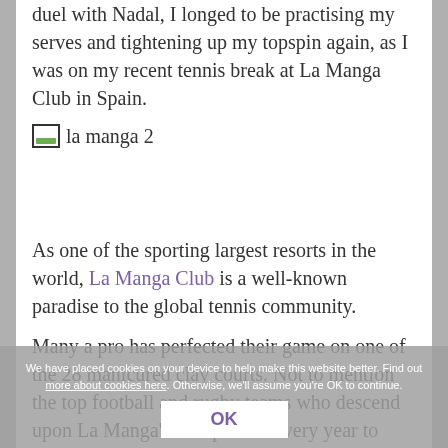duel with Nadal, I longed to be practising my serves and tightening up my topspin again, as I was on my recent tennis break at La Manga Club in Spain.
[Figure (photo): Broken image placeholder labeled 'la manga 2']
As one of the sporting largest resorts in the world, La Manga Club is a well-known paradise to the global tennis community.
Many a pro has perfected their game on one of the 28 manicured clay courts. Not to mention the top football and rugby teams who descend upon La Manga's vast pitches every year to train and the well-healed jet set who own luxury villas on-site.
We have placed cookies on your device to help make this website better. Find out more about cookies here. Otherwise, we'll assume you're OK to continue.